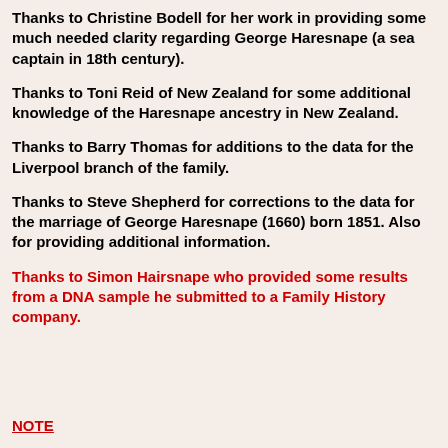Thanks to Christine Bodell for her work in providing some much needed clarity regarding George Haresnape (a sea captain in 18th century).
Thanks to Toni Reid of New Zealand for some additional knowledge of the Haresnape ancestry in New Zealand.
Thanks to Barry Thomas for additions to the data for the Liverpool branch of the family.
Thanks to Steve Shepherd for corrections to the data for the marriage of George Haresnape (1660) born 1851. Also for providing additional information.
Thanks to Simon Hairsnape who provided some results from a DNA sample he submitted to a Family History company.
NOTE